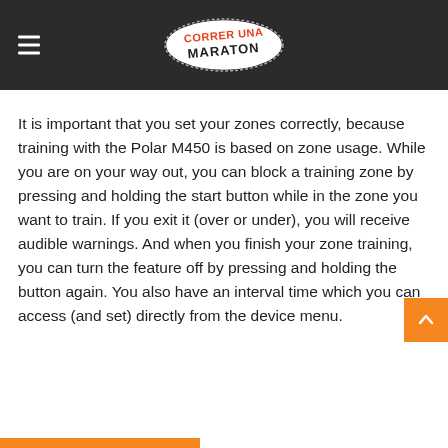Correr Una Maraton (logo header with hamburger menu)
It is important that you set your zones correctly, because training with the Polar M450 is based on zone usage. While you are on your way out, you can block a training zone by pressing and holding the start button while in the zone you want to train. If you exit it (over or under), you will receive audible warnings. And when you finish your zone training, you can turn the feature off by pressing and holding the button again. You also have an interval time which you can access (and set) directly from the device menu.